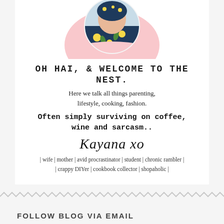[Figure (photo): Circular profile photo of a person wearing a floral top/head covering, set against a pink blob/cloud shape at the top of the sidebar card.]
OH HAI, & WELCOME TO THE NEST.
Here we talk all things parenting, lifestyle, cooking, fashion.
Often simply surviving on coffee, wine and sarcasm..
Kayana xo
| wife | mother | avid procrastinator | student | chronic rambler | | crappy DIYer | cookbook collector | shopaholic |
FOLLOW BLOG VIA EMAIL
Enter your email address to follow this blog